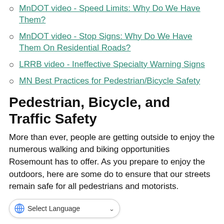MnDOT video - Speed Limits: Why Do We Have Them?
MnDOT video - Stop Signs: Why Do We Have Them On Residential Roads?
LRRB video - Ineffective Specialty Warning Signs
MN Best Practices for Pedestrian/Bicycle Safety
Pedestrian, Bicycle, and Traffic Safety
More than ever, people are getting outside to enjoy the numerous walking and biking opportunities Rosemount has to offer. As you prepare to enjoy the outdoors, here are some do to ensure that our streets remain safe for all pedestrians and motorists.